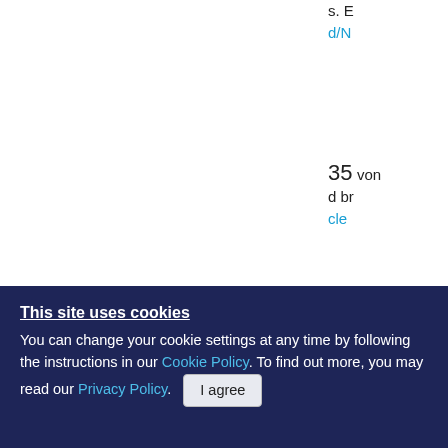s. B... d/N...
35 von... d br... cle...
36 Lu... Cen... h fo... r : F...
37 Con... Mos...
This site uses cookies
You can change your cookie settings at any time by following the instructions in our Cookie Policy. To find out more, you may read our Privacy Policy.
I agree